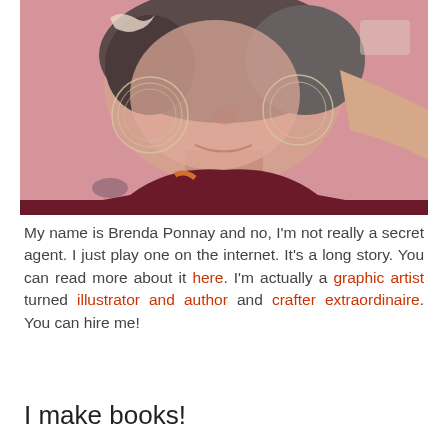[Figure (photo): Close-up photo of a woman smiling, wearing large hoop earrings and a colorful bikini top, against a pink wall background.]
My name is Brenda Ponnay and no, I'm not really a secret agent. I just play one on the internet. It's a long story. You can read more about it here. I'm actually a graphic artist turned illustrator and author and crafter extraordinaire. You can hire me!
I make books!